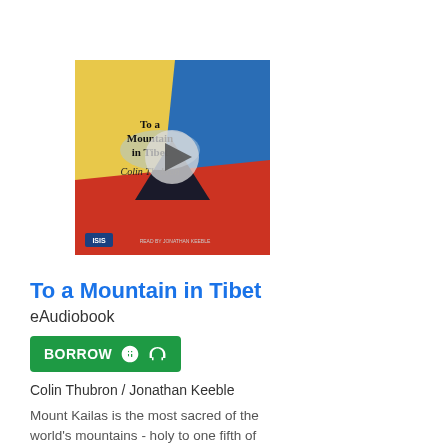[Figure (photo): Book cover of 'To a Mountain in Tibet' by Colin Thubron, showing colorful abstract shapes in yellow, blue, and red with the title and author name in the center. A circular play button overlay is shown on the cover image.]
To a Mountain in Tibet
eAudiobook
BORROW
Colin Thubron / Jonathan Keeble
Mount Kailas is the most sacred of the world's mountains - holy to one fifth of humanity. Isolated...